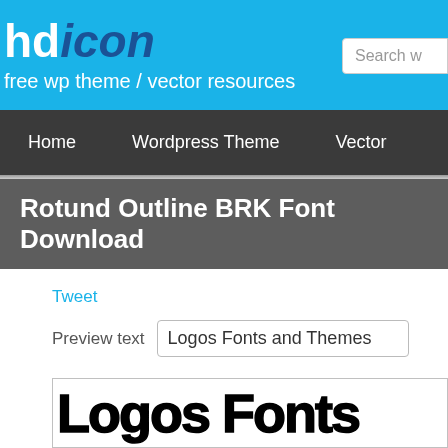hdicon - free wp theme / vector resources
Home | Wordpress Theme | Vector
Rotund Outline BRK Font Download
Tweet
Preview text   Logos Fonts and Themes
[Figure (screenshot): Font preview showing 'Logos Fonts...' text rendered in a bold block outline style font]